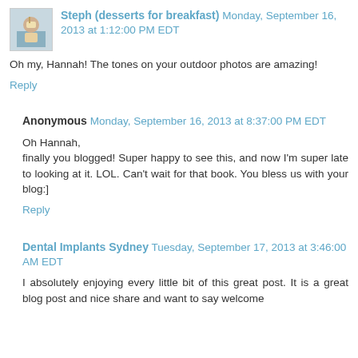Steph (desserts for breakfast) Monday, September 16, 2013 at 1:12:00 PM EDT
Oh my, Hannah! The tones on your outdoor photos are amazing!
Reply
Anonymous Monday, September 16, 2013 at 8:37:00 PM EDT
Oh Hannah,
finally you blogged! Super happy to see this, and now I'm super late to looking at it. LOL. Can't wait for that book. You bless us with your blog:]
Reply
Dental Implants Sydney Tuesday, September 17, 2013 at 3:46:00 AM EDT
I absolutely enjoying every little bit of this great post. It is a great blog post and nice share and want to say welcome